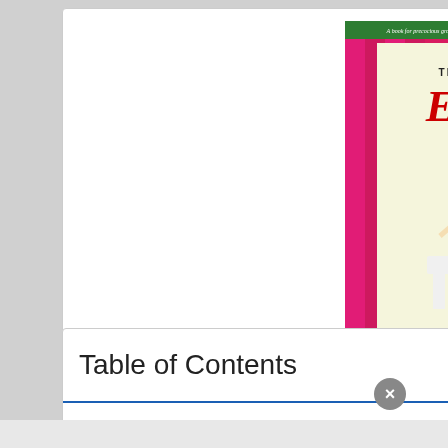[Figure (photo): Book cover of 'Kay Thompson's Eloise' showing a girl in pink and white outfit against pink curtains background with gold bottom strip]
Eloise
View Product (Amazon button)
Table of Contents